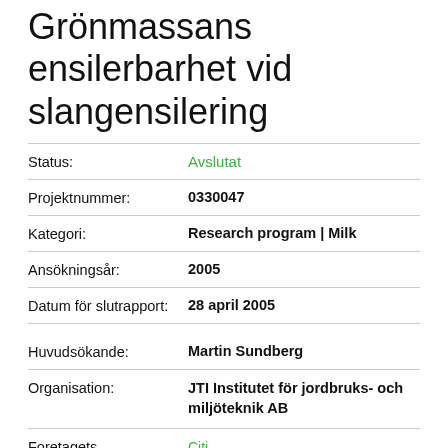Grönmassans ensilerbarhet vid slangensilering
| Field | Value |
| --- | --- |
| Status: | Avslutat |
| Projektnummer: | 0330047 |
| Kategori: | Research program | Milk |
| Ansökningsår: | 2005 |
| Datum för slutrapport: | 28 april 2005 |
| Huvudsökande: | Martin Sundberg |
| Organisation: | JTI Institutet för jordbruks- och miljöteknik AB |